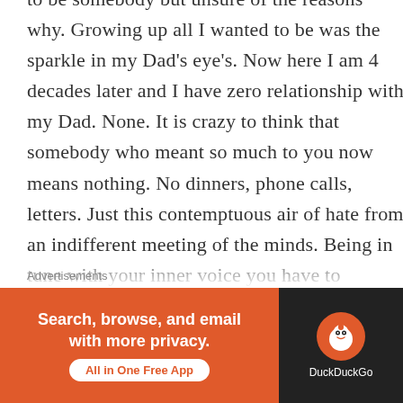to be somebody but unsure of the reasons why. Growing up all I wanted to be was the sparkle in my Dad's eye's. Now here I am 4 decades later and I have zero relationship with my Dad. None. It is crazy to think that somebody who meant so much to you now means nothing. No dinners, phone calls, letters. Just this contemptuous air of hate from an indifferent meeting of the minds. Being in tune with your inner voice you have to decipher through a lot of white noise. My problem sometimes is I am so strong on my convictions that I refuse to waiver. Any time I have in the past I have gotten bitten. I can feel bad people. There is just something about somebody's intentions that I can pick up on. I always doubted myself but I
Advertisements
[Figure (other): DuckDuckGo advertisement banner: orange left panel with text 'Search, browse, and email with more privacy. All in One Free App' and dark right panel with DuckDuckGo duck logo and brand name]